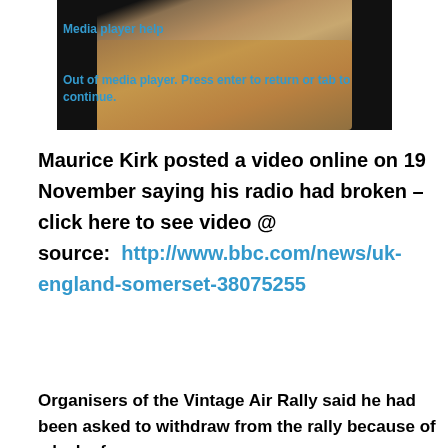[Figure (screenshot): Media player screenshot showing a desert aerial view with black borders. Blue text overlay reads 'Media player help' and 'Out of media player. Press enter to return or tab to continue.']
Maurice Kirk posted a video online on 19 November saying his radio had broken – click here to see video @ source:  http://www.bbc.com/news/uk-england-somerset-38075255
Organisers of the Vintage Air Rally said he had been asked to withdraw from the rally because of a lack of